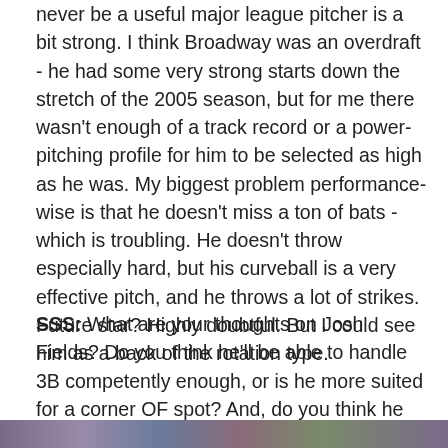never be a useful major league pitcher is a bit strong. I think Broadway was an overdraft - he had some very strong starts down the stretch of the 2005 season, but for me there wasn't enough of a track record or a power-pitching profile for him to be selected as high as he was. My biggest problem performance-wise is that he doesn't miss a ton of bats - which is troubling. He doesn't throw especially hard, but his curveball is a very effective pitch, and he throws a lot of strikes. Future star? Highly doubtful. But I could see him as a back of the rotation type.
SSS: What are your thoughts on Josh Fields? Do you think he'll be able to handle 3B competently enough, or is he more suited for a corner OF spot? And, do you think he has a long term spot with the White Sox?
[Figure (photo): Partial image strip visible at bottom of page, appears to be a cropped photo]